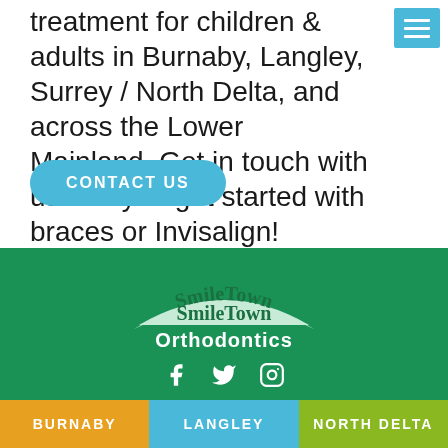treatment for children & adults in Burnaby, Langley, Surrey / North Delta, and across the Lower Mainland. Get in touch with us today to get started with braces or Invisalign!
CONTACT US
[Figure (logo): SmileTown Orthodontics logo on green background with arched banner shape, white text. Accessibility icon in top-left corner. Social media icons (Facebook, Twitter, Instagram) below logo.]
BURNABY
LANGLEY
NORTH DELTA